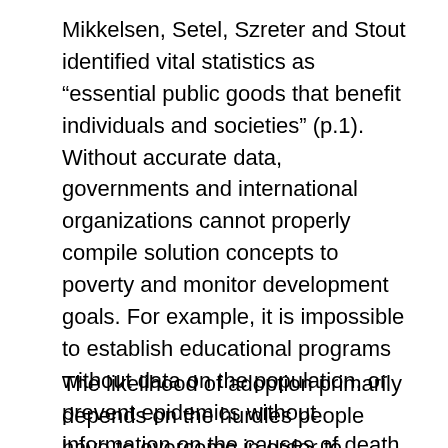Mikkelsen, Setel, Szreter and Stout identified vital statistics as “essential public goods that benefit individuals and societies” (p.1). Without accurate data, governments and international organizations cannot properly compile solution concepts to poverty and monitor development goals. For example, it is impossible to establish educational programs without data on the population, or prevent epidemics without information on the causes of death. Given the extent of those problems, digital legal documents can significantly improve people’s lives, business environments and overall governance.
The likelihood of adoption primarily depends on the hurdles people have to overcome in order to